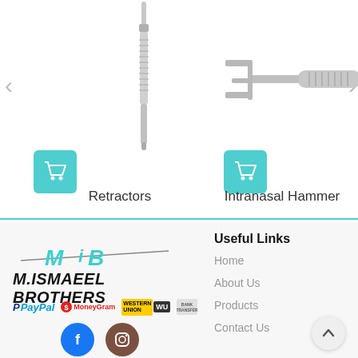[Figure (photo): Medical instrument - Retractors, a thin rod-like surgical tool with textured grip]
Retractors
[Figure (photo): Medical instrument - Intranasal Hammer, a fork-shaped surgical tool with ridged handle]
Intranasal Hammer
[Figure (logo): MIB - M.ISMAEEL BROTHERS company logo with stylized MiB text and italic company name]
[Figure (infographic): Payment method icons: PayPal, MoneyGram, Western Union, Bank Transfer]
[Figure (infographic): Social media icons: Facebook (blue circle with f), Instagram (brown circle with camera icon)]
Useful Links
Home
About Us
Products
Contact Us